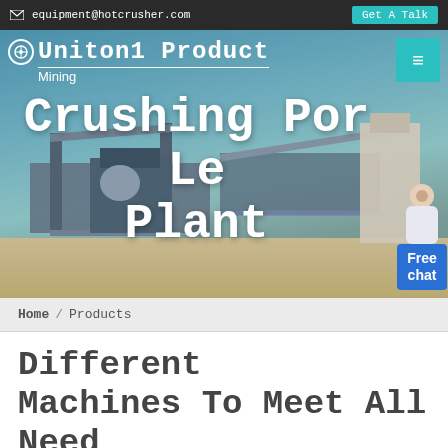equipment@hotcrusher.com  Get A Talk
[Figure (screenshot): Hero banner showing a mining crushing plant with large industrial conveyor and crushing equipment against a blue sky background. Overlay text reads 'Uniton1 Product Crushing Por Le Plant' with a navigation bar showing a logo, Mining brand, and teal menu button. A customer service chat widget with avatar and 'Free chat' button is visible on the right side.]
Home / Products
Different Machines To Meet All Need
[Figure (photo): Partial view of industrial mining equipment machinery shown at bottom of page]